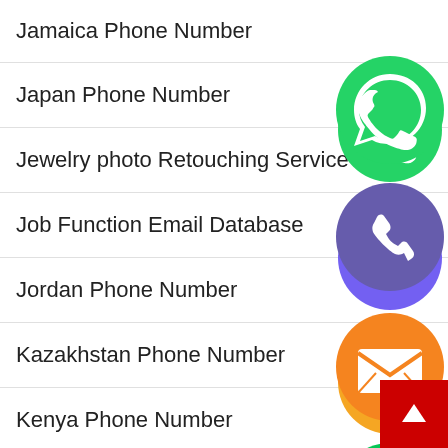Jamaica Phone Number
Japan Phone Number
Jewelry photo Retouching Service
Job Function Email Database
Jordan Phone Number
Kazakhstan Phone Number
Kenya Phone Number
Kuwait Phone Number
Latvia Phone Number
[Figure (infographic): Floating social media contact icons: WhatsApp (green), Viber/phone (blue-purple), email/envelope (orange), LINE (green), Viber (purple), close/X (green), arranged vertically on the right side of the page]